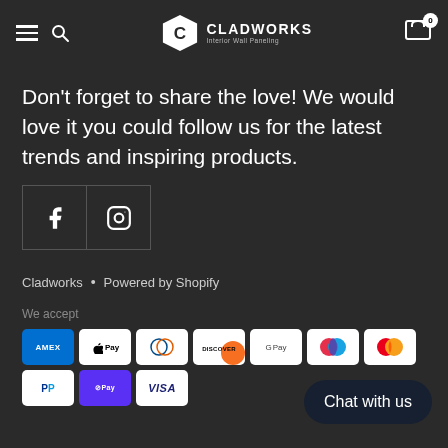Cladworks Interior Wall Paneling — navigation header with hamburger, search, logo, cart
Don't forget to share the love! We would love it you could follow us for the latest trends and inspiring products.
[Figure (other): Social media buttons: Facebook and Instagram icons in outlined square boxes]
Cladworks • Powered by Shopify
We accept
[Figure (other): Payment method icons: Amex, Apple Pay, Diners Club, Discover, Google Pay, Maestro, Mastercard, PayPal, Shop Pay, Visa]
Chat with us